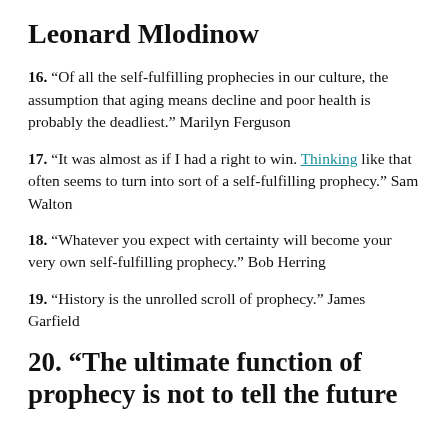Leonard Mlodinow
16. “Of all the self-fulfilling prophecies in our culture, the assumption that aging means decline and poor health is probably the deadliest.” Marilyn Ferguson
17. “It was almost as if I had a right to win. Thinking like that often seems to turn into sort of a self-fulfilling prophecy.” Sam Walton
18. “Whatever you expect with certainty will become your very own self-fulfilling prophecy.” Bob Herring
19. “History is the unrolled scroll of prophecy.” James Garfield
20. “The ultimate function of prophecy is not to tell the future